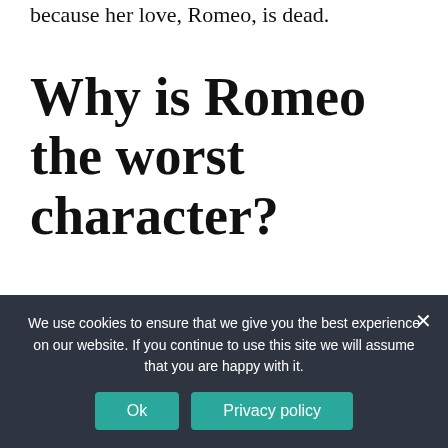because her love, Romeo, is dead.
Why is Romeo the worst character?
Romeo is, very definitely, the worst person in Shakespeare's “Romeo and Juliet.” He breaks up with a girl and then immediately seduces the
We use cookies to ensure that we give you the best experience on our website. If you continue to use this site we will assume that you are happy with it.